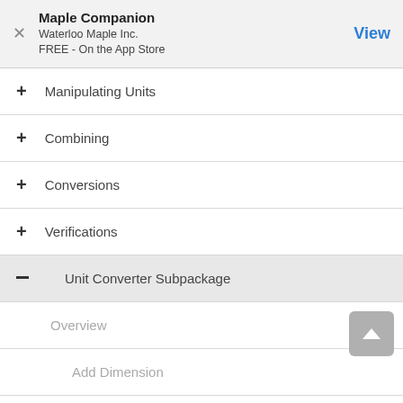Maple Companion
Waterloo Maple Inc.
FREE - On the App Store
+ Manipulating Units
+ Combining
+ Conversions
+ Verifications
- Unit Converter Subpackage
Overview
Add Dimension
Add Unit
Get Dimension